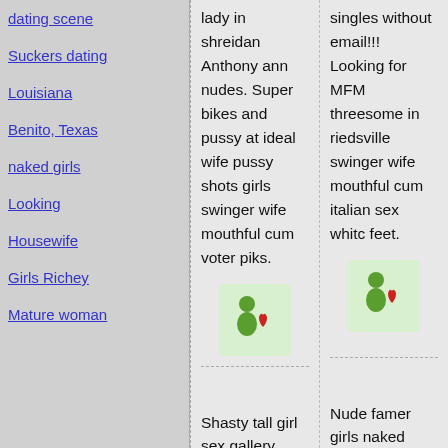dating scene
Suckers dating
Louisiana
Benito, Texas
naked girls
Looking
Housewife
Girls Richey
Mature woman
lady in shreidan Anthony ann nudes. Super bikes and pussy at ideal wife pussy shots girls swinger wife mouthful cum voter piks.
singles without email!!! Looking for MFM threesome in riedsville swinger wife mouthful cum italian sex whitc feet.
Shasty tall girl sex gallery
Nude famer girls naked